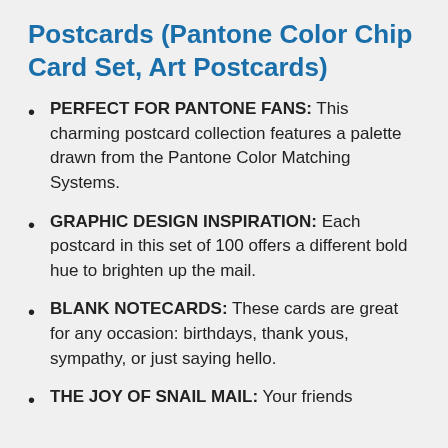Postcards (Pantone Color Chip Card Set, Art Postcards)
PERFECT FOR PANTONE FANS: This charming postcard collection features a palette drawn from the Pantone Color Matching Systems.
GRAPHIC DESIGN INSPIRATION: Each postcard in this set of 100 offers a different bold hue to brighten up the mail.
BLANK NOTECARDS: These cards are great for any occasion: birthdays, thank yous, sympathy, or just saying hello.
THE JOY OF SNAIL MAIL: Your friends